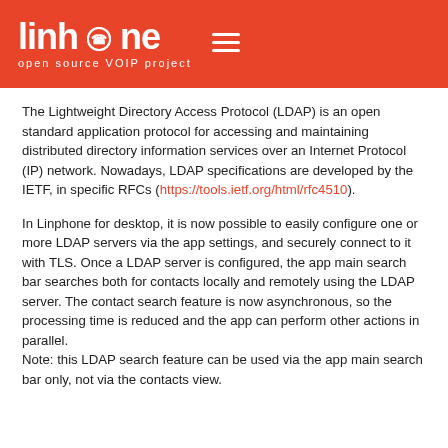linphone open source VOIP project
The Lightweight Directory Access Protocol (LDAP) is an open standard application protocol for accessing and maintaining distributed directory information services over an Internet Protocol (IP) network. Nowadays, LDAP specifications are developed by the IETF, in specific RFCs (https://tools.ietf.org/html/rfc4510).
In Linphone for desktop, it is now possible to easily configure one or more LDAP servers via the app settings, and securely connect to it with TLS. Once a LDAP server is configured, the app main search bar searches both for contacts locally and remotely using the LDAP server. The contact search feature is now asynchronous, so the processing time is reduced and the app can perform other actions in parallel.
Note: this LDAP search feature can be used via the app main search bar only, not via the contacts view.